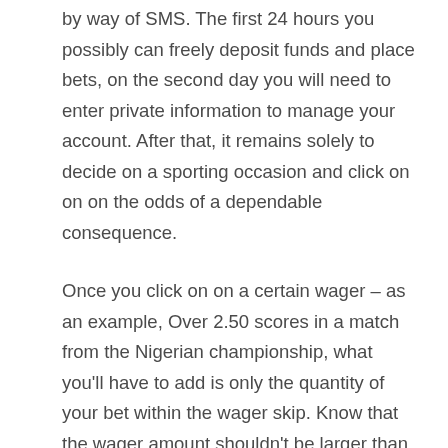by way of SMS. The first 24 hours you possibly can freely deposit funds and place bets, on the second day you will need to enter private information to manage your account. After that, it remains solely to decide on a sporting occasion and click on on on the odds of a dependable consequence.
Once you click on on a certain wager – as an example, Over 2.50 scores in a match from the Nigerian championship, what you'll have to add is only the quantity of your bet within the wager skip. Know that the wager amount shouldn't be larger than your current account stability quantity. However, 1xBet offers even quicker ways to register on the platform. And the fastest